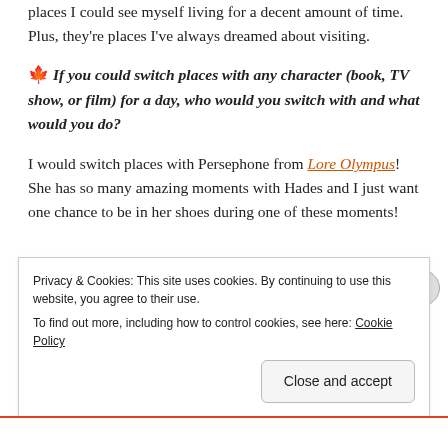places I could see myself living for a decent amount of time. Plus, they're places I've always dreamed about visiting.
🍁 If you could switch places with any character (book, TV show, or film) for a day, who would you switch with and what would you do?
I would switch places with Persephone from Lore Olympus! She has so many amazing moments with Hades and I just want one chance to be in her shoes during one of these moments!
Privacy & Cookies: This site uses cookies. By continuing to use this website, you agree to their use.
To find out more, including how to control cookies, see here: Cookie Policy
Close and accept